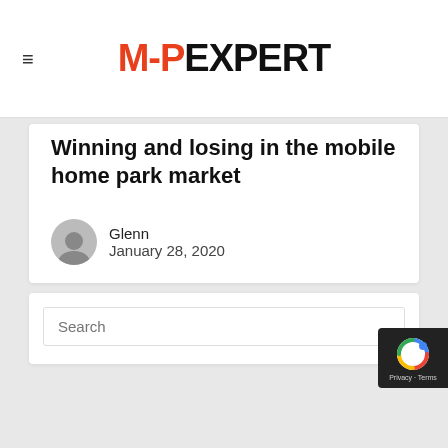MHP EXPERT
Winning and losing in the mobile home park market
Glenn
January 28, 2020
Search